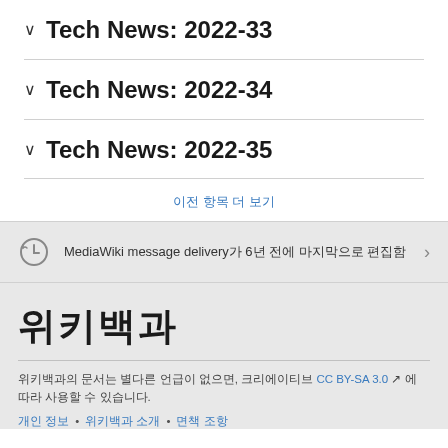Tech News: 2022-33
Tech News: 2022-34
Tech News: 2022-35
이전 항목 더 보기
MediaWiki message delivery가 6년 전에 마지막으로 편집함
위키백과
위키백과의 문서는 별다른 언급이 없으면, 크리에이티브 CC BY-SA 3.0 에 따라 사용할 수 있습니다.
개인정보처리방침 • 위키백과 소개 • 면책 조항